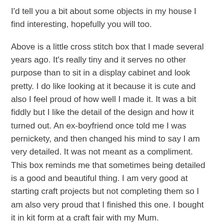I'd tell you a bit about some objects in my house I find interesting, hopefully you will too.
Above is a little cross stitch box that I made several years ago. It's really tiny and it serves no other purpose than to sit in a display cabinet and look pretty. I do like looking at it because it is cute and also I feel proud of how well I made it. It was a bit fiddly but I like the detail of the design and how it turned out. An ex-boyfriend once told me I was pernickety, and then changed his mind to say I am very detailed. It was not meant as a compliment. This box reminds me that sometimes being detailed is a good and beautiful thing. I am very good at starting craft projects but not completing them so I am also very proud that I finished this one. I bought it in kit form at a craft fair with my Mum.